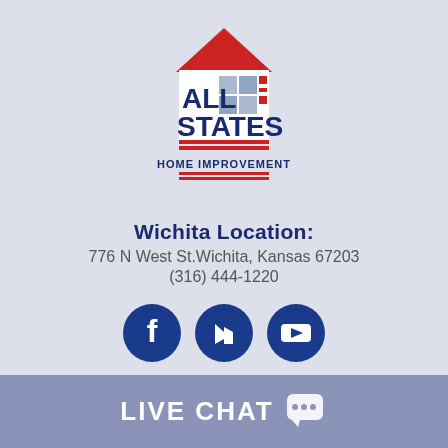[Figure (logo): All States Home Improvement logo with house icon, red roof, blue text ALL STATES, and HOME IMPROVEMENT below]
Wichita Location:
776 N West St.Wichita, Kansas 67203
(316) 444-1220
[Figure (infographic): Three circular social media icons: Facebook, Houzz, and YouTube]
Areas Served
LIVE CHAT